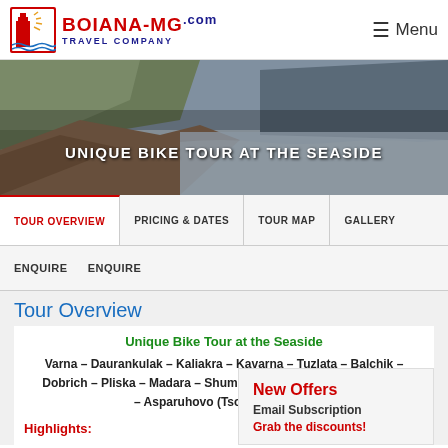BOIANA-MG TRAVEL COMPANY
[Figure (photo): Coastal cliffs with sea view, hero banner image for Unique Bike Tour at the Seaside]
UNIQUE BIKE TOUR AT THE SEASIDE
TOUR OVERVIEW | PRICING & DATES | TOUR MAP | GALLERY
ENQUIRE
ENQUIRE
Tour Overview
Unique Bike Tour at the Seaside
Varna – Daurankulak – Kaliakra – Kavarna – Tuzlata – Balchik – Dobrich – Pliska – Madara – Shumen – Veliki Preslav – Provadia – Asparuhovo (Tsonevo) – De...
Highlights:
New Offers
Email Subscription
Grab the discounts!